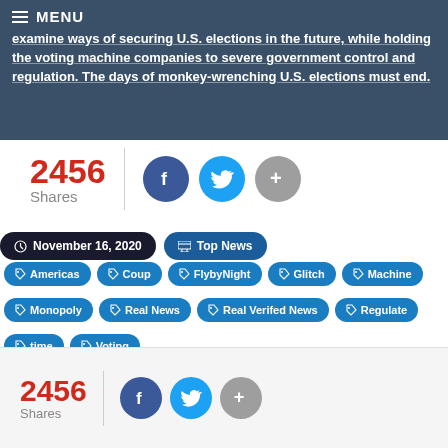MENU
examine ways of securing U.S. elections in the future, while holding the voting machine companies to severe government control and regulation. The days of monkey-wrenching U.S. elections must end.
2456 Shares
November 16, 2020  Top News
Americas
Coup
FlybyNight
Glitch
Machine
Monopoly
Real News
Real Verifed News
Regulate
time
Voting
2456 Shares